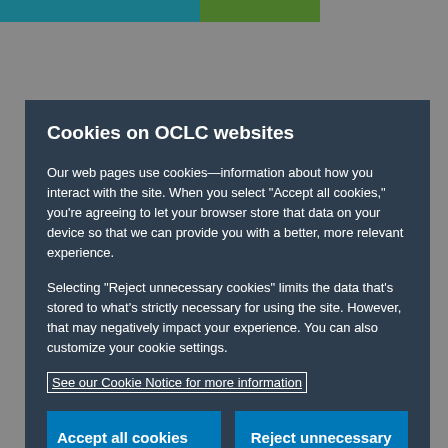Cookies on OCLC websites
Our web pages use cookies—information about how you interact with the site. When you select “Accept all cookies,” you’re agreeing to let your browser store that data on your device so that we can provide you with a better, more relevant experience.
Selecting “Reject unnecessary cookies” limits the data that’s stored to what’s strictly necessary for using the site. However, that may negatively impact your experience. You can also customize your cookie settings.
See our Cookie Notice for more information
Accept all cookies
Reject unnecessary cookies
Customize cookie settings